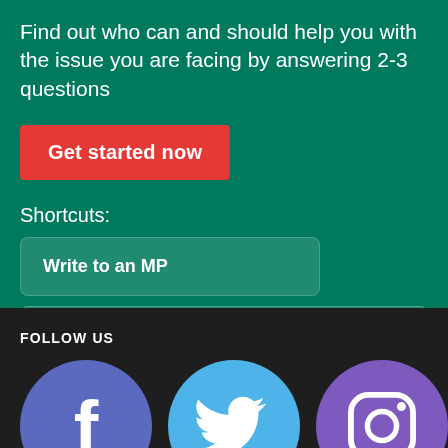Find out who can and should help you with the issue you are facing by answering 2-3 questions
Get started now
Shortcuts:
Write to an MP
Write to a Parliamentary Committee
FOLLOW US
[Figure (illustration): Social media icons: Facebook (blue circle with f), Twitter (light blue circle with bird), Instagram (purple circle with camera outline)]